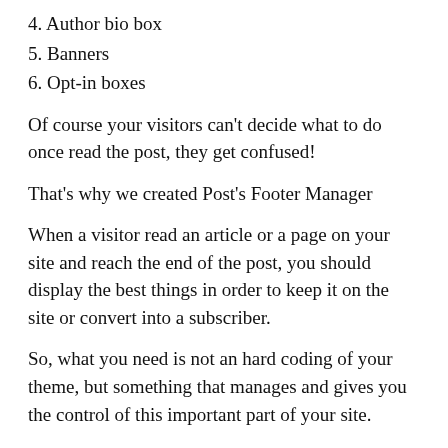4. Author bio box
5. Banners
6. Opt-in boxes
Of course your visitors can't decide what to do once read the post, they get confused!
That's why we created Post's Footer Manager
When a visitor read an article or a page on your site and reach the end of the post, you should display the best things in order to keep it on the site or convert into a subscriber.
So, what you need is not an hard coding of your theme, but something that manages and gives you the control of this important part of your site.
With Post's Footer Manager you put your widgets, insert shortcodes, scripts and so on, with an easy